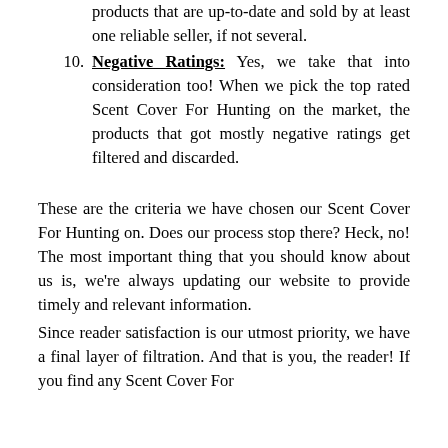products that are up-to-date and sold by at least one reliable seller, if not several.
Negative Ratings: Yes, we take that into consideration too! When we pick the top rated Scent Cover For Hunting on the market, the products that got mostly negative ratings get filtered and discarded.
These are the criteria we have chosen our Scent Cover For Hunting on. Does our process stop there? Heck, no! The most important thing that you should know about us is, we're always updating our website to provide timely and relevant information.
Since reader satisfaction is our utmost priority, we have a final layer of filtration. And that is you, the reader! If you find any Scent Cover For